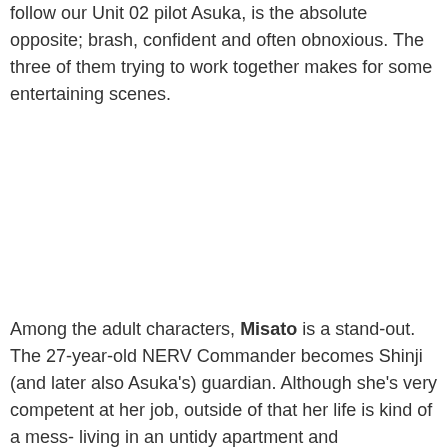follow our Unit 02 pilot Asuka, is the absolute opposite; brash, confident and often obnoxious. The three of them trying to work together makes for some entertaining scenes.
Among the adult characters, Misato is a stand-out. The 27-year-old NERV Commander becomes Shinji (and later also Asuka's) guardian. Although she's very competent at her job, outside of that her life is kind of a mess- living in an untidy apartment and